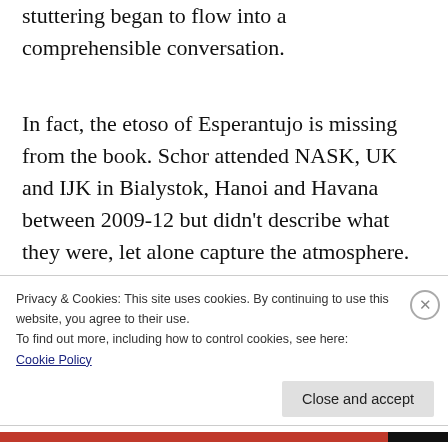stuttering began to flow into a comprehensible conversation.
In fact, the etoso of Esperantujo is missing from the book. Schor attended NASK, UK and IJK in Bialystok, Hanoi and Havana between 2009-12 but didn't describe what they were, let alone capture the atmosphere. A non-Esperantist reading the book still wouldn't know what happens at Esperanto events or what people actually use the language for. I
Privacy & Cookies: This site uses cookies. By continuing to use this website, you agree to their use.
To find out more, including how to control cookies, see here: Cookie Policy